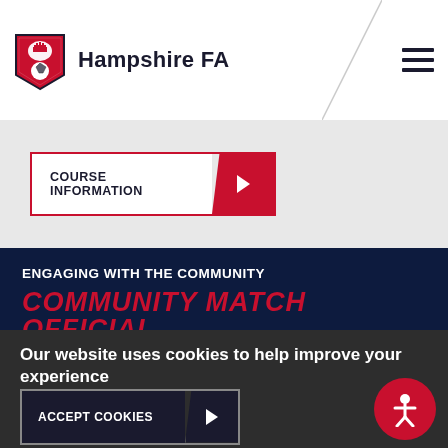Hampshire FA
COURSE INFORMATION
ENGAGING WITH THE COMMUNITY
COMMUNITY MATCH OFFICIAL
Our website uses cookies to help improve your experience
A functional cookie (which expires when you close your browser) has already been placed on your machine. More details
ACCEPT COOKIES